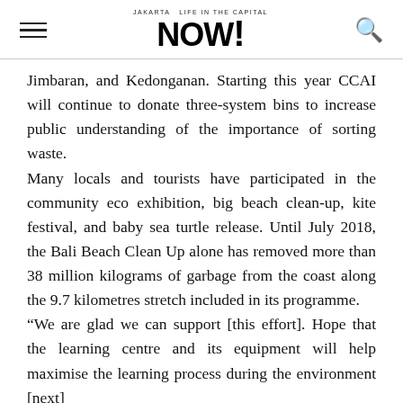NOW! (Jakarta Now! Life in the Capital)
Jimbaran, and Kedonganan. Starting this year CCAI will continue to donate three-system bins to increase public understanding of the importance of sorting waste.
Many locals and tourists have participated in the community eco exhibition, big beach clean-up, kite festival, and baby sea turtle release. Until July 2018, the Bali Beach Clean Up alone has removed more than 38 million kilograms of garbage from the coast along the 9.7 kilometres stretch included in its programme.
“We are glad we can support [this effort]. Hope that the learning centre and its equipment will help maximise the learning process during the environment [next]